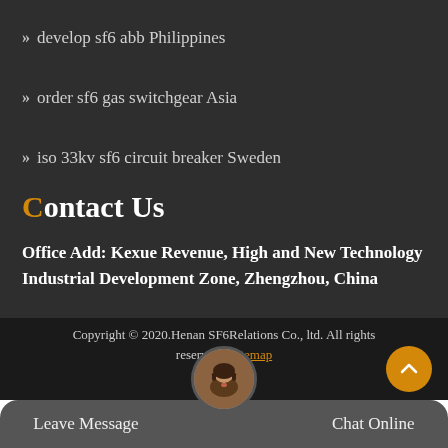develop sf6 abb Philippines
order sf6 gas switchgear Asia
iso 33kv sf6 circuit breaker Sweden
Contact Us
Office Add: Kexue Revenue, High and New Technology Industrial Development Zone, Zhengzhou, China
Copyright © 2020.Henan SF6Relations Co., ltd. All rights reserved. Sitemap
Leave Message
Chat Online